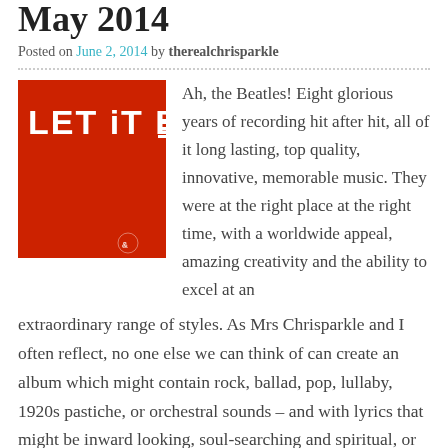May 2014
Posted on June 2, 2014 by therealchrisparkle
[Figure (photo): Red album cover with white text reading 'LET IT BE' and a small logo at bottom right]
Ah, the Beatles! Eight glorious years of recording hit after hit, all of it long lasting, top quality, innovative, memorable music. They were at the right place at the right time, with a worldwide appeal, amazing creativity and the ability to excel at an extraordinary range of styles. As Mrs Chrisparkle and I often reflect, no one else we can think of can create an album which might contain rock, ballad, pop, lullaby, 1920s pastiche, or orchestral sounds – and with lyrics that might be inward looking, soul-searching and spiritual, or full of imaginary, lively characters, with their own stories to tell.